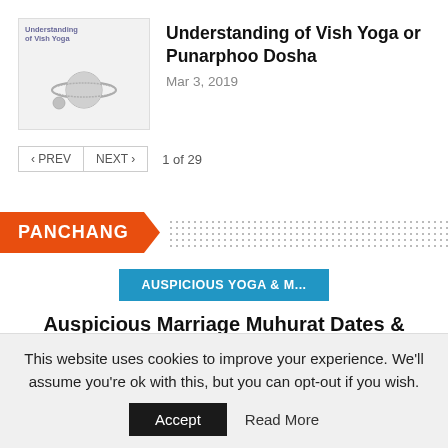[Figure (illustration): Thumbnail image with planet/Saturn illustration and text 'Understanding of Vish Yoga']
Understanding of Vish Yoga or Punarphoo Dosha
Mar 3, 2019
< PREV   NEXT >   1 of 29
PANCHANG
AUSPICIOUS YOGA & M...
Auspicious Marriage Muhurat Dates & Timing In 2021
TAMILJOTHIDAM...   2 years ago   0
This website uses cookies to improve your experience. We'll assume you're ok with this, but you can opt-out if you wish.
Accept   Read More